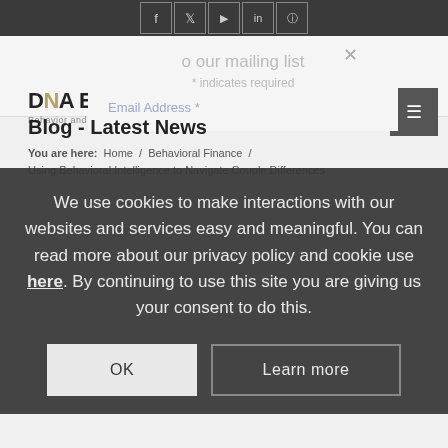Social media icons: f, Twitter, YouTube, LinkedIn, Instagram
[Figure (logo): DNA Behavior logo with tagline 'Behavior and Money Insights']
Blog - Latest News
You are here: Home / Behavioral Finance / Using Behavioral Intelligence to Navigate Couple Differences
We use cookies to make interactions with our websites and services easy and meaningful. You can read more about our privacy policy and cookie use here. By continuing to use this site you are giving us your consent to do this.
OK
Learn more